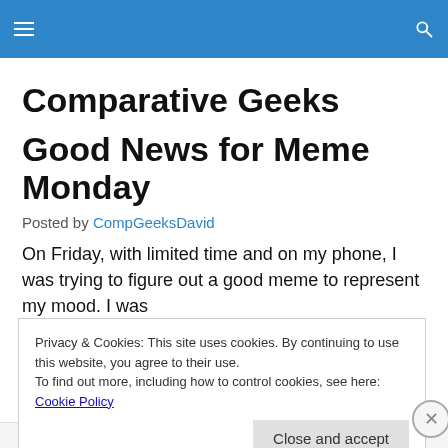Comparative Geeks [hamburger menu icon] [search icon]
Comparative Geeks
Good News for Meme Monday
Posted by CompGeeksDavid
On Friday, with limited time and on my phone, I was trying to figure out a good meme to represent my mood. I was
Privacy & Cookies: This site uses cookies. By continuing to use this website, you agree to their use.
To find out more, including how to control cookies, see here: Cookie Policy
Close and accept
Advertisements